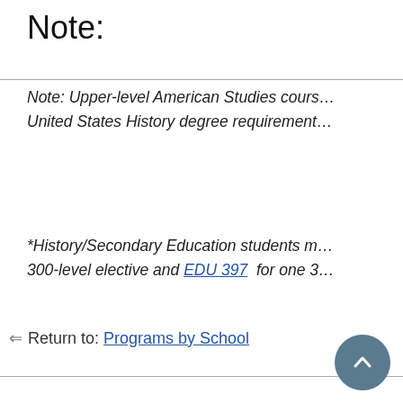Note:
Note: Upper-level American Studies cours… United States History degree requirement…
*History/Secondary Education students m… 300-level elective and EDU 397  for one 3…
← Return to: Programs by School